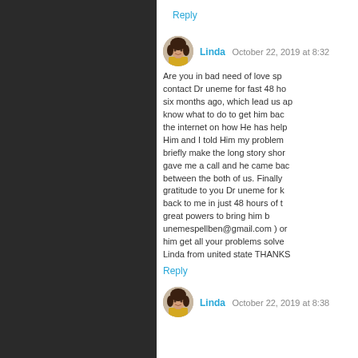Reply
Linda  October 22, 2019 at 8:32
Are you in bad need of love sp contact Dr uneme for fast 48 ho six months ago, which lead us ap know what to do to get him bac the internet on how He has help Him and I told Him my problem briefly make the long story shor gave me a call and he came bac between the both of us. Finally gratitude to you Dr uneme for k back to me in just 48 hours of t great powers to bring him b unemespellben@gmail.com ) or him get all your problems solve Linda from united state THANKS
Reply
Linda  October 22, 2019 at 8:38